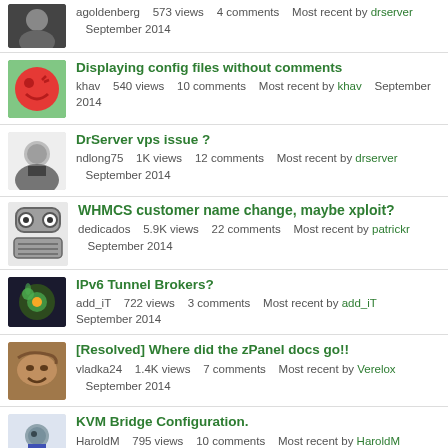agoldenberg   573 views   4 comments   Most recent by drserver   September 2014
Displaying config files without comments
khav   540 views   10 comments   Most recent by khav   September 2014
DrServer vps issue ?
ndlong75   1K views   12 comments   Most recent by drserver   September 2014
WHMCS customer name change, maybe xploit?
dedicados   5.9K views   22 comments   Most recent by patrickr   September 2014
IPv6 Tunnel Brokers?
add_iT   722 views   3 comments   Most recent by add_iT   September 2014
[Resolved] Where did the zPanel docs go!!
vladka24   1.4K views   7 comments   Most recent by Verelox   September 2014
KVM Bridge Configuration.
HaroldM   795 views   10 comments   Most recent by HaroldM   September 2014